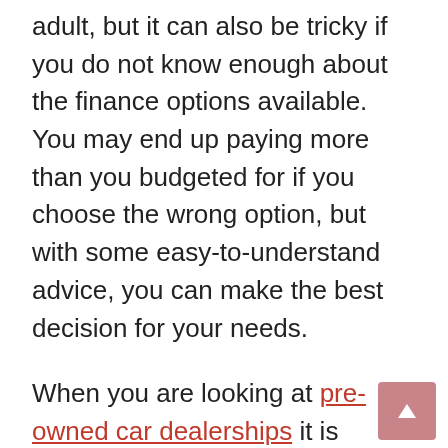adult, but it can also be tricky if you do not know enough about the finance options available. You may end up paying more than you budgeted for if you choose the wrong option, but with some easy-to-understand advice, you can make the best decision for your needs.
When you are looking at pre-owned car dealerships it is important to have a budget in mind. This can help you to decide which car finance option is ideal for you. You might be able to afford finance from a used car dealer if you are looking for lower interest rates, but if you can afford a higher interest rate, you can use a car loan from a lender to look for the perfect car from used car dealerships. Not sure